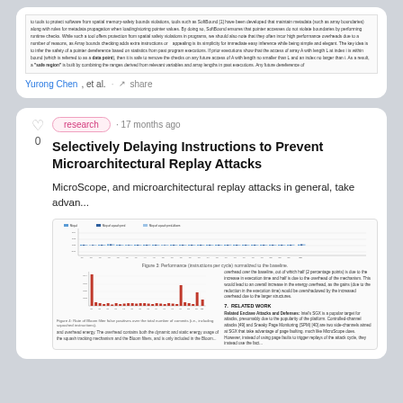[Figure (screenshot): Partial view of a research paper text discussing SoftBound and pointer bounds checking, showing two columns of dense academic text]
Yurong Chen, et al. · share
research · 17 months ago
Selectively Delaying Instructions to Prevent Microarchitectural Replay Attacks
MicroScope, and microarchitectural replay attacks in general, take advan...
[Figure (bar-chart): Grouped bar chart showing performance instructions per cycle normalized to baseline, with multiple benchmark categories on x-axis and blue/dark blue bars]
[Figure (bar-chart): Bar chart with red/orange bars showing Bloom filter false positive rates across multiple benchmarks]
and overhead energy. The overhead contains both the dynamic and static energy usage of the squash tracking mechanism and the Bloom filters, and is only included in the Bloom...
7. RELATED WORK
Related Enclave Attacks and Defenses: Intel's SGX is a popular target for attacks, presumably due to the popularity of the platform. Controlled-channel attacks [49] and Sneaky Page Monitoring (SPM) [40] are two side-channels aimed at SGX that take advantage of page faulting. much like MicroScope does. However, instead of using page faults to trigger replays of the attack cycle, they instead use the fact...